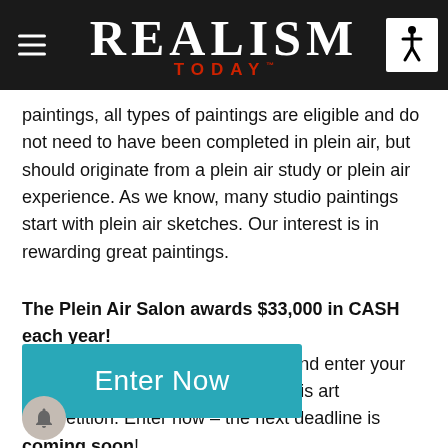REALISM TODAY
paintings, all types of paintings are eligible and do not need to have been completed in plein air, but should originate from a plein air study or plein air experience. As we know, many studio paintings start with plein air sketches. Our interest is in rewarding great paintings.
The Plein Air Salon awards $33,000 in CASH each year! Learn more at pleinairsalon.com, and enter your best work for your chance to win this art competition. Enter now – the next deadline is coming soon!
[Figure (other): Teal/cyan 'Enter Now' button]